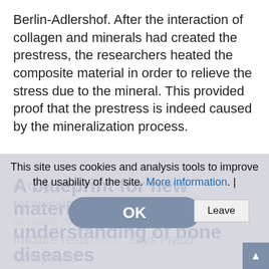Berlin-Adlershof. After the interaction of collagen and minerals had created the prestress, the researchers heated the composite material in order to relieve the stress due to the mineral. This provided proof that the prestress is indeed caused by the mineralization process.
A blueprint for new materials and a better understanding of bone diseases
This site uses cookies and analysis tools to improve the usability of the site. More information. |
of original and technical hybrid materials in order to achieve high fracture resistance, says Fratzl. Composite